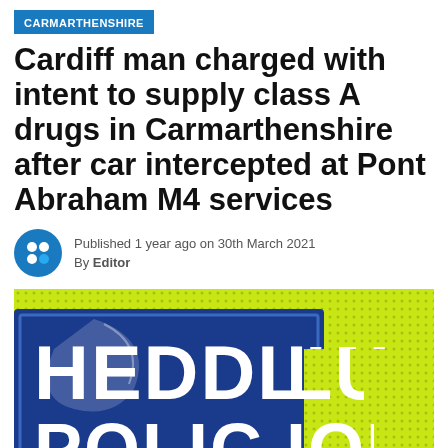CARMARTHENSHIRE
Cardiff man charged with intent to supply class A drugs in Carmarthenshire after car intercepted at Pont Abraham M4 services
Published 1 year ago on 30th March 2021
By Editor
[Figure (photo): Close-up photo of a Welsh Police (Heddlu) high-visibility vest showing blue badge with 'HEDDLU POLICE' text in white letters on a yellow hi-vis background]